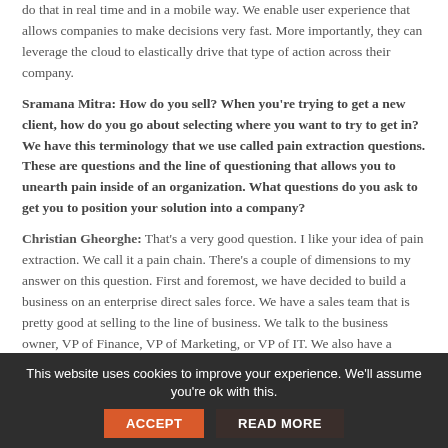do that in real time and in a mobile way. We enable user experience that allows companies to make decisions very fast. More importantly, they can leverage the cloud to elastically drive that type of action across their company.
Sramana Mitra: How do you sell? When you're trying to get a new client, how do you go about selecting where you want to try to get in? We have this terminology that we use called pain extraction questions. These are questions and the line of questioning that allows you to unearth pain inside of an organization. What questions do you ask to get you to position your solution into a company?
Christian Gheorghe: That's a very good question. I like your idea of pain extraction. We call it a pain chain. There's a couple of dimensions to my answer on this question. First and foremost, we have decided to build a business on an enterprise direct sales force. We have a sales team that is pretty good at selling to the line of business. We talk to the business owner, VP of Finance, VP of Marketing, or VP of IT. We also have a process that drives a strategic conversation at the office of the CXO as it relates to the transformation. So the type of questions that we ask are
This website uses cookies to improve your experience. We'll assume you're ok with this.